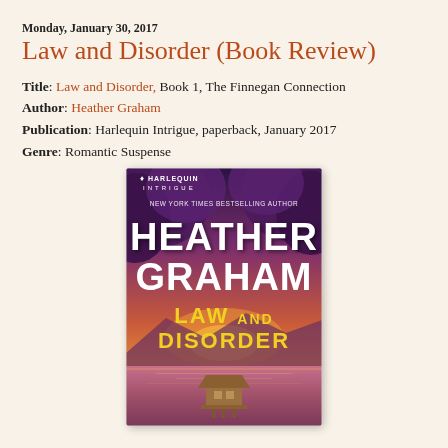Monday, January 30, 2017
Law and Disorder (Book Review)
Title: Law and Disorder, Book 1, The Finnegan Connection
Author: Heather Graham
Publication: Harlequin Intrigue, paperback, January 2017
Genre: Romantic Suspense
[Figure (photo): Book cover of 'Law and Disorder' by Heather Graham, Harlequin Intrigue. Purple and pink sunset sky with trees, large white author name text 'HEATHER GRAHAM', yellow title text 'LAW AND DISORDER', small hut on water in foreground, lake and mountains in background.]